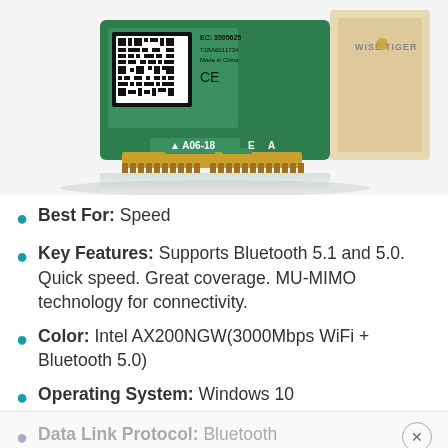[Figure (photo): Photo of a WiFi/Bluetooth M.2 card (Intel AX200NGW) and a Wise Tiger branded product box on a white background]
Best For: Speed
Key Features: Supports Bluetooth 5.1 and 5.0. Quick speed. Great coverage. MU-MIMO technology for connectivity.
Color: Intel AX200NGW(3000Mbps WiFi + Bluetooth 5.0)
Operating System: Windows 10
Data Link Protocol: Bluetooth